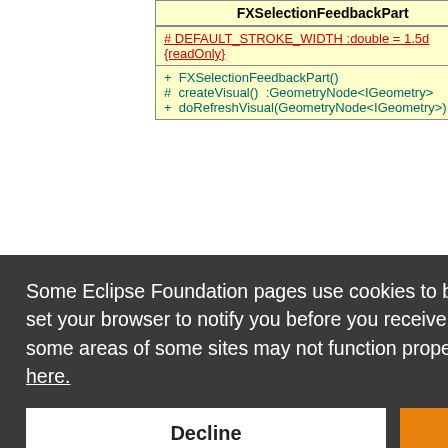| FXSelectionFeedbackPart |
| --- |
| # DEFAULT_STROKE_WIDTH :double = 1.5d {readOnly} |
| + FXSelectionFeedbackPart() |
| # createVisual()  :GeometryNode<IGeometry> |
| + doRefreshVisual(GeometryNode<IGeometry>)  :void |
Some Eclipse Foundation pages use cookies to better serve you when you return to the site. You can set your browser to notify you before you receive a cookie or turn off cookies. If you do so, however, some areas of some sites may not function properly. To read Eclipse Foundation Privacy Policy click here.
Decline
Allow cookies
geometry in response to SelectionModel changes and